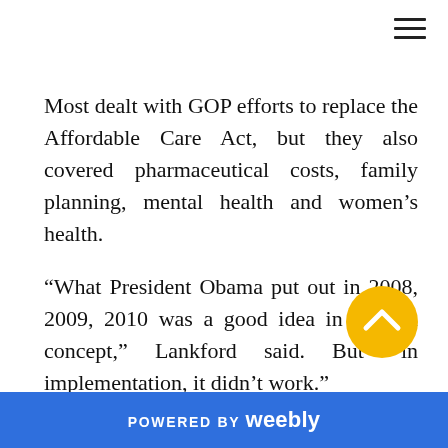Most dealt with GOP efforts to replace the Affordable Care Act, but they also covered pharmaceutical costs, family planning, mental health and women's health.
“What President Obama put out in 2008, 2009, 2010 was a good idea in general concept,” Lankford said. But “in implementation, it didn’t work.”
Lankford said a health-care reform bill that provides fewer benefits for the people who need them most will not make it through the Republican-led Senate.
“The bill the House put out originally would have
[Figure (other): Yellow circular scroll-to-top button with upward chevron arrow]
POWERED BY weebly